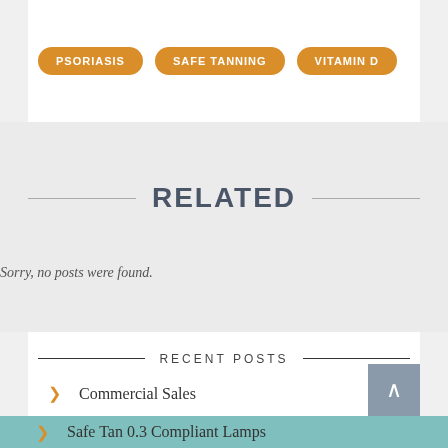PSORIASIS
SAFE TANNING
VITAMIN D
RELATED
Sorry, no posts were found.
RECENT POSTS
Commercial Sales
Tansun Sapphire Hire and sales
Safe Tan 0.3 Compliant Lamps